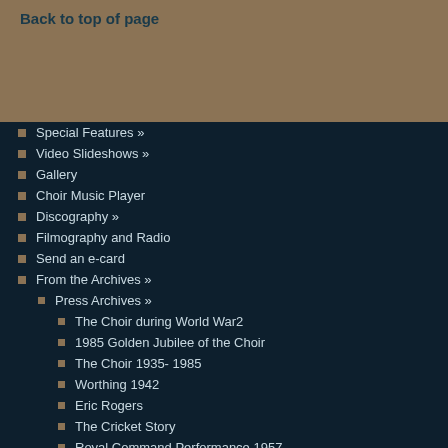Back to top of page
Special Features »
Video Slideshows »
Gallery
Choir Music Player
Discography »
Filmography and Radio
Send an e-card
From the Archives »
Press Archives »
The Choir during World War2
1985 Golden Jubilee of the Choir
The Choir 1935- 1985
Worthing 1942
Eric Rogers
The Cricket Story
Royal Command Performance 1957
The Miracle of St. Helen's